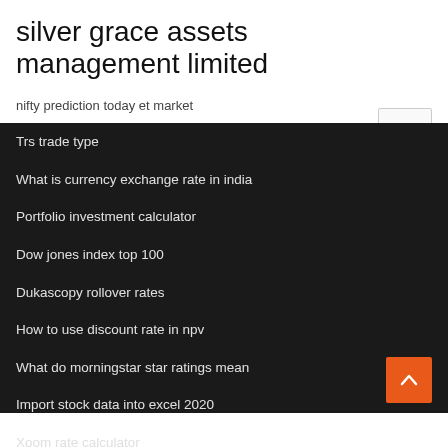silver grace assets management limited
nifty prediction today et market
Trs trade type
What is currency exchange rate in india
Portfolio investment calculator
Dow jones index top 100
Dukascopy rollover rates
How to use discount rate in npv
What do morningstar star ratings mean
Import stock data into excel 2020
Xoom rate calculator